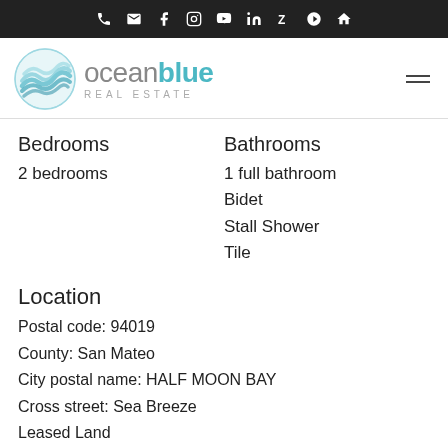Ocean Blue Real Estate — navigation bar with phone, email, facebook, instagram, youtube, linkedin, zillow, yelp, home icons
[Figure (logo): Ocean Blue Real Estate logo: circular wave icon in teal/blue tones with text 'oceanblue REAL ESTATE']
Bedrooms
2 bedrooms
Bathrooms
1 full bathroom
Bidet
Stall Shower
Tile
Location
Postal code: 94019
County: San Mateo
City postal name: HALF MOON BAY
Cross street: Sea Breeze
Leased Land